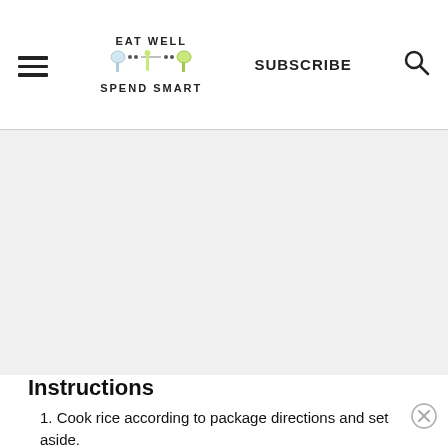EAT WELL SPEND SMART | SUBSCRIBE
[Figure (photo): Large food photo placeholder area (light gray background), likely showing a rice dish]
Instructions
1. Cook rice according to package directions and set aside.
2. Meanwhile, heat olive oil in a pot or small